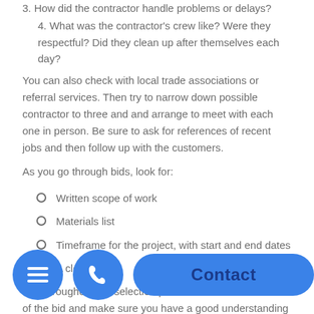3. How did the contractor handle problems or delays?
4. What was the contractor's crew like? Were they respectful? Did they clean up after themselves each day?
You can also check with local trade associations or referral services. Then try to narrow down possible contractor to three and and arrange to meet with each one in person. Be sure to ask for references of recent jobs and then follow up with the customers.
As you go through bids, look for:
Written scope of work
Materials list
Timeframe for the project, with start and end dates
A clear price
well throughout the selection process. Look at the details of the bid and make sure you have a good understanding of what